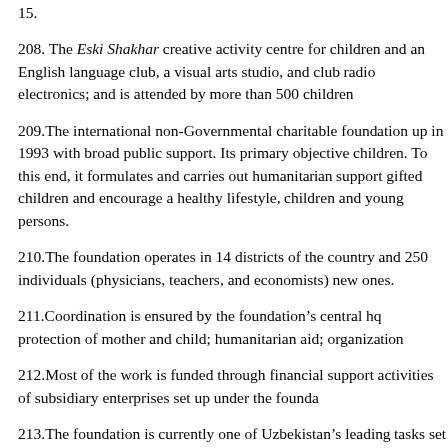15.
208. The Eski Shakhar creative activity centre for children and an English language club, a visual arts studio, and club radio electronics; and is attended by more than 500 children.
209.The international non-Governmental charitable foundation up in 1993 with broad public support. Its primary objective children. To this end, it formulates and carries out humanitarian support gifted children and encourage a healthy lifestyle, children and young persons.
210.The foundation operates in 14 districts of the country and 250 individuals (physicians, teachers, and economists new ones.
211.Coordination is ensured by the foundation's central h protection of mother and child; humanitarian aid; organiz
212.Most of the work is funded through financial support activities of subsidiary enterprises set up under the foundation
213.The foundation is currently one of Uzbekistan's leading tasks set in the State's social policies and the pressing pro
214.The foundation is the founder of a number of public